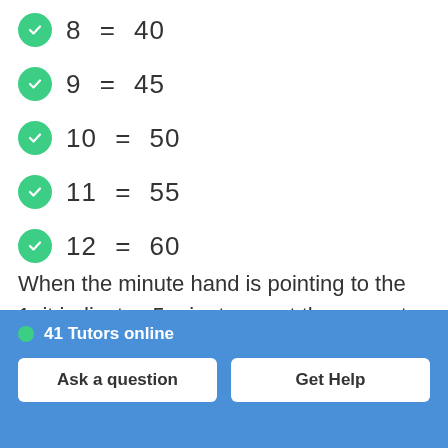8 = 40
9 = 45
10 = 50
11 = 55
12 = 60
When the minute hand is pointing to the 1, it indicates 5 minutes past the current hour.
41 Tutors online | Ask a question | Get Help